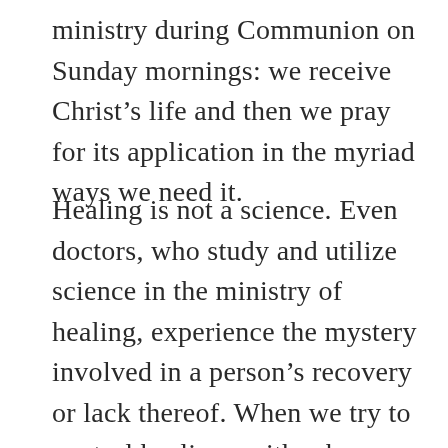ministry during Communion on Sunday mornings: we receive Christ’s life and then we pray for its application in the myriad ways we need it.
Healing is not a science. Even doctors, who study and utilize science in the ministry of healing, experience the mystery involved in a person’s recovery or lack thereof. When we try to control healing—either by reducing it to a formula or by dismissing the possibility altogether— we misrepresent the God